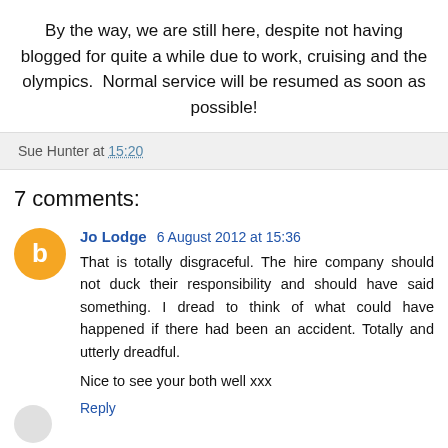By the way, we are still here, despite not having blogged for quite a while due to work, cruising and the olympics.  Normal service will be resumed as soon as possible!
Sue Hunter at 15:20
7 comments:
Jo Lodge 6 August 2012 at 15:36
That is totally disgraceful. The hire company should not duck their responsibility and should have said something. I dread to think of what could have happened if there had been an accident. Totally and utterly dreadful.

Nice to see your both well xxx
Reply